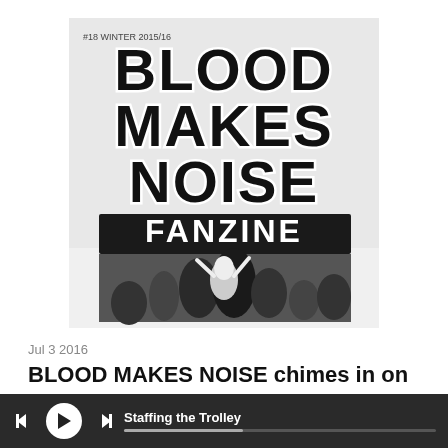[Figure (illustration): Cover of Blood Makes Noise Fanzine #18 Winter 2015/16. Black and white graphic with large bold bubble letters reading 'BLOOD MAKES NOISE FANZINE' over an illustrated crowd scene with a performer at center.]
Jul 3 2016
BLOOD MAKES NOISE chimes in on upcoming VOD EP 'Scared to Death'
"Well well well, just when I
Staffing the Trolley